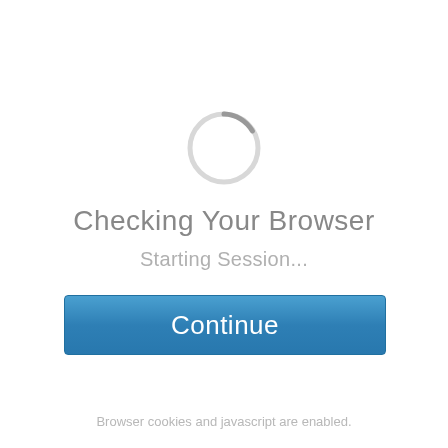[Figure (other): Circular spinner/loading indicator: a light gray circle with a small darker gray arc at the top-right, indicating a browser check loading animation.]
Checking Your Browser
Starting Session...
[Figure (other): A blue rectangular Continue button with white text.]
Browser cookies and javascript are enabled.